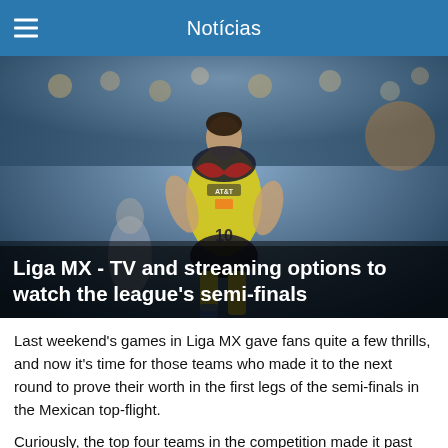Notícias
[Figure (photo): Soccer player wearing yellow jersey number 10 with AT&T sponsor and The Home Depot logo, celebrating during a Liga MX match, with blurred crowd in background]
Liga MX - TV and streaming options to watch the league's semi-finals
Last weekend's games in Liga MX gave fans quite a few thrills, and now it's time for those teams who made it to the next round to prove their worth in the first legs of the semi-finals in the Mexican top-flight.
Curiously, the top four teams in the competition made it past the Quarterfinals, leaving América as the lowest-ranked team for this stage. With that in mind, Las Águilas will be playing as the underdog against Pachuca, while defending champions Atlas will be looking